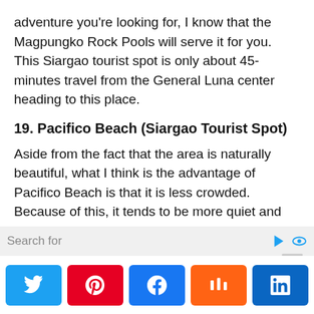adventure you're looking for, I know that the Magpungko Rock Pools will serve it for you. This Siargao tourist spot is only about 45-minutes travel from the General Luna center heading to this place.
19. Pacifico Beach (Siargao Tourist Spot)
Aside from the fact that the area is naturally beautiful, what I think is the advantage of Pacifico Beach is that it is less crowded. Because of this, it tends to be more quiet and peaceful. So, for those who are looking for such a place to visit, this one is for you.
20. Road trip sessions
Search for
[Figure (other): Social share buttons: Twitter, Pinterest, Facebook, Mix, LinkedIn]